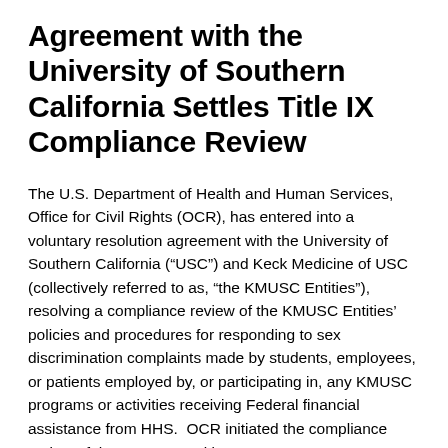Agreement with the University of Southern California Settles Title IX Compliance Review
The U.S. Department of Health and Human Services, Office for Civil Rights (OCR), has entered into a voluntary resolution agreement with the University of Southern California (“USC”) and Keck Medicine of USC (collectively referred to as, “the KMUSC Entities”), resolving a compliance review of the KMUSC Entities’ policies and procedures for responding to sex discrimination complaints made by students, employees, or patients employed by, or participating in, any KMUSC programs or activities receiving Federal financial assistance from HHS.  OCR initiated the compliance review of the KMUSC Entities to assess KMUSC’s compliance with Title IX in its handling of sexual harassment complaints.
“We appreciate KMUSC’s willingness to work with OCR to ensure voluntary compliance with its federal civil rights obligations under Title IX. As a result, OCR and KMUSC reached this agreement,